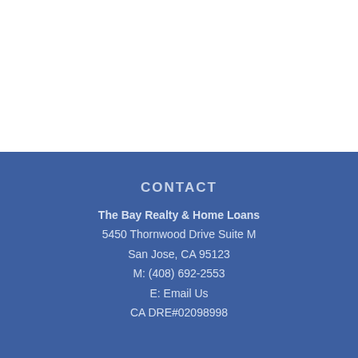CONTACT
The Bay Realty & Home Loans
5450 Thornwood Drive Suite M
San Jose, CA 95123
M: (408) 692-2553
E: Email Us
CA DRE#02098998